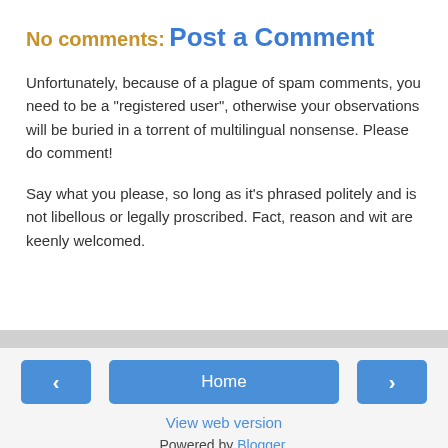No comments:
Post a Comment
Unfortunately, because of a plague of spam comments, you need to be a "registered user", otherwise your observations will be buried in a torrent of multilingual nonsense. Please do comment!
Say what you please, so long as it’s phrased politely and is not libellous or legally proscribed. Fact, reason and wit are keenly welcomed.
Home | View web version | Powered by Blogger.